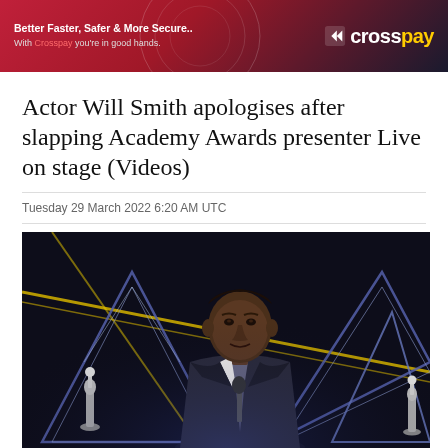[Figure (other): CrossPay advertisement banner with red and dark blue gradient background. Text reads 'Better Faster, Safer & More Secure.. With Crosspay you're in good hands.' Logo shows CrossPay brand name with arrow icon.]
Actor Will Smith apologises after slapping Academy Awards presenter Live on stage (Videos)
Tuesday 29 March 2022 6:20 AM UTC
[Figure (photo): Photo of Will Smith in a dark suit and patterned tie standing at a microphone on the Oscars stage. Behind him are triangular geometric decorations lit in blue and white, and gold diagonal lines. Oscar statuettes are visible in the background.]